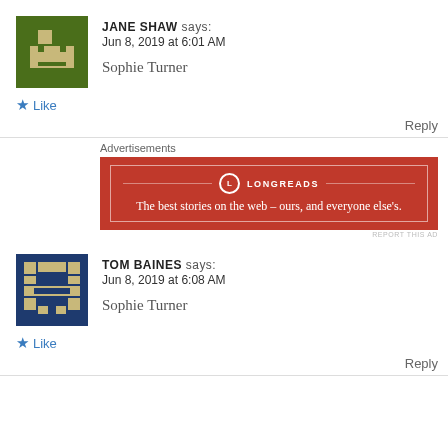JANE SHAW says: Jun 8, 2019 at 6:01 AM
Sophie Turner
★ Like
Reply
Advertisements
[Figure (illustration): Longreads advertisement: red background with border, logo and tagline 'The best stories on the web – ours, and everyone else's.']
TOM BAINES says: Jun 8, 2019 at 6:08 AM
Sophie Turner
★ Like
Reply